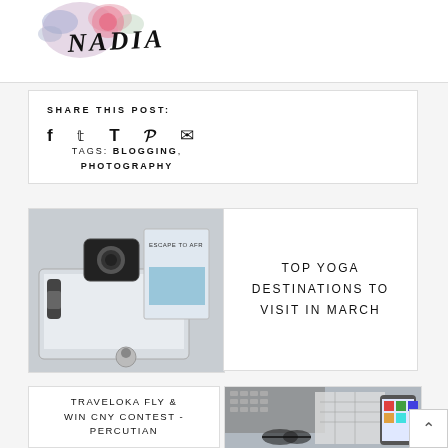[Figure (illustration): Watercolor floral logo with text 'NADIA' in script font, flowers in pink and purple]
SHARE THIS POST:  f  t  T  P  ✉      TAGS: BLOGGING, PHOTOGRAPHY
[Figure (photo): Flat lay photo of a camera, laptop, magazine showing 'ESCAPE TO AFRICA', and open travel articles with a round portrait at bottom]
TOP YOGA DESTINATIONS TO VISIT IN MARCH
TRAVELOKA FLY & WIN CNY CONTEST - PERCUTIAN
[Figure (photo): Photo of a laptop keyboard with a map and a mobile phone showing a colorful app, with sunglasses]